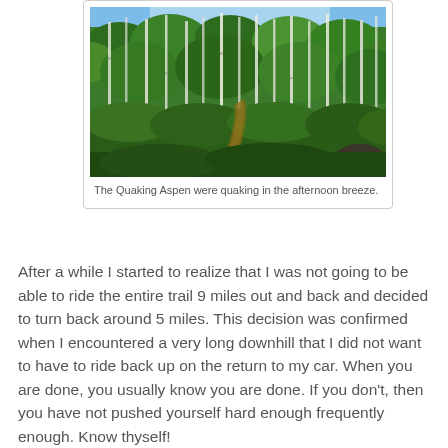[Figure (photo): A forest trail through tall, slender white-barked Quaking Aspen trees with dense green foliage and a narrow dirt path visible at the bottom center.]
The Quaking Aspen were quaking in the afternoon breeze.
After a while I started to realize that I was not going to be able to ride the entire trail 9 miles out and back and decided to turn back around 5 miles. This decision was confirmed when I encountered a very long downhill that I did not want to have to ride back up on the return to my car. When you are done, you usually know you are done. If you don't, then you have not pushed yourself hard enough frequently enough. Know thyself!